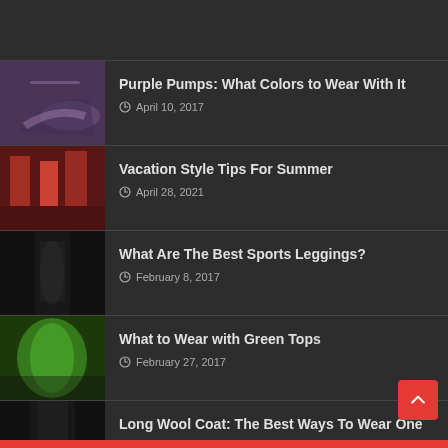Purple Pumps: What Colors to Wear With It
April 10, 2017
Vacation Style Tips For Summer
April 28, 2021
What Are The Best Sports Leggings?
February 8, 2017
What to Wear with Green Tops
February 27, 2017
Long Wool Coat: The Best Ways To Wear One
April 10, 2017